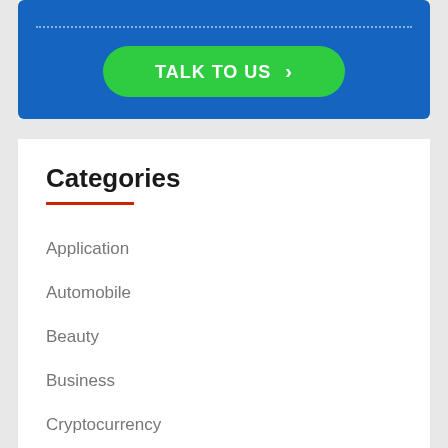[Figure (other): Blue banner with dotted line and green 'TALK TO US >' button]
Categories
Application
Automobile
Beauty
Business
Cryptocurrency
Digital Marketing
Education